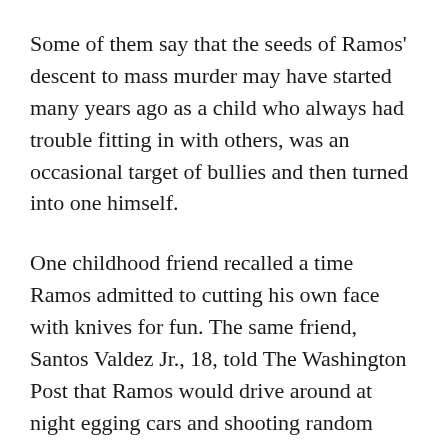Some of them say that the seeds of Ramos' descent to mass murder may have started many years ago as a child who always had trouble fitting in with others, was an occasional target of bullies and then turned into one himself.
One childhood friend recalled a time Ramos admitted to cutting his own face with knives for fun. The same friend, Santos Valdez Jr., 18, told The Washington Post that Ramos would drive around at night egging cars and shooting random people with a BB gun. About a year ago, he said, Ramos posted a "wish list" on social media of automatic rifles.
Foutz, the former classmate, said Ramos had become increasingly withdrawn in recent months, having "slowly fallen off" from attending school, and got into